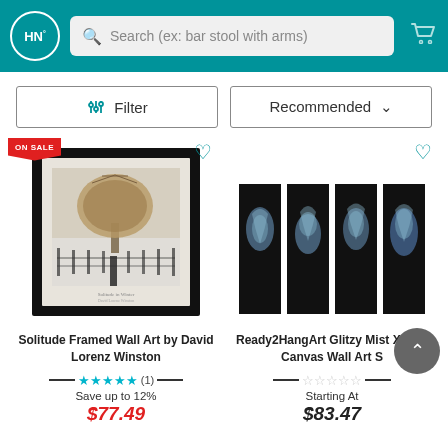HN° — Search (ex: bar stool with arms)
Filter | Recommended
[Figure (screenshot): Framed wall art showing a bare tree in winter landscape with fence, black frame, sepia tone. ON SALE badge.]
[Figure (screenshot): Four-panel canvas wall art with blue smoke/flower pattern on black background.]
Solitude Framed Wall Art by David Lorenz Winston
Ready2HangArt Glitzy Mist XXXIX Canvas Wall Art S
★★★★★ (1)
Save up to 12%
$77.49
☆☆☆☆☆
Starting At
$83.47